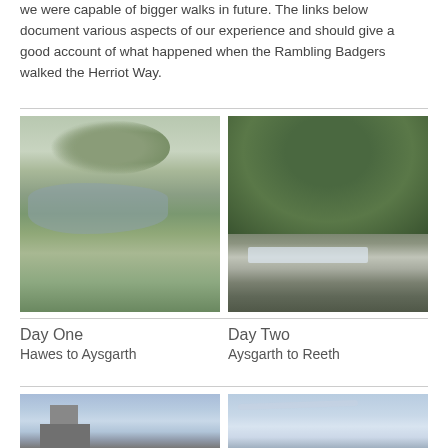we were capable of bigger walks in future. The links below document various aspects of our experience and should give a good account of what happened when the Rambling Badgers walked the Herriot Way.
[Figure (photo): River and green meadow scene with trees in background, overcast sky]
[Figure (photo): Rocky waterfall surrounded by trees with green foliage]
Day One
Hawes to Aysgarth
Day Two
Aysgarth to Reeth
[Figure (photo): Stone building or tower against blue sky]
[Figure (photo): Landscape with open sky and light clouds]